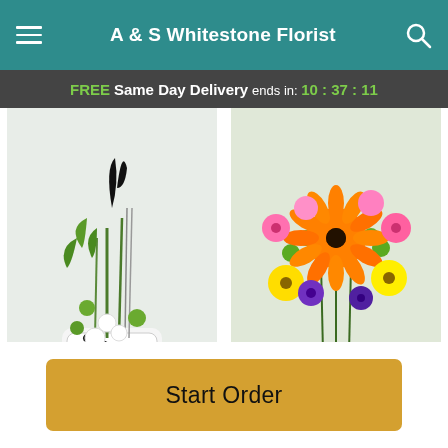A & S Whitestone Florist
FREE Same Day Delivery ends in: 10:37:11
[Figure (photo): Cool Breeze flower arrangement in a white container with green and white flowers and black decorative elements]
Cool Breeze
From $84.95
[Figure (photo): Radiant Rainbow flower arrangement in a glass vase with colorful flowers including orange gerberas, yellow daisies, pink carnations, and purple flowers]
Radiant Rainbow™
From $69.95
Start Order